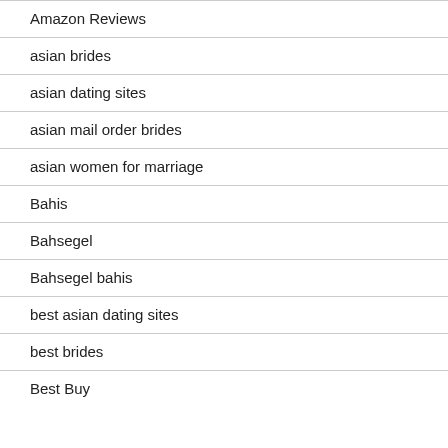Amazon Reviews
asian brides
asian dating sites
asian mail order brides
asian women for marriage
Bahis
Bahsegel
Bahsegel bahis
best asian dating sites
best brides
Best Buy